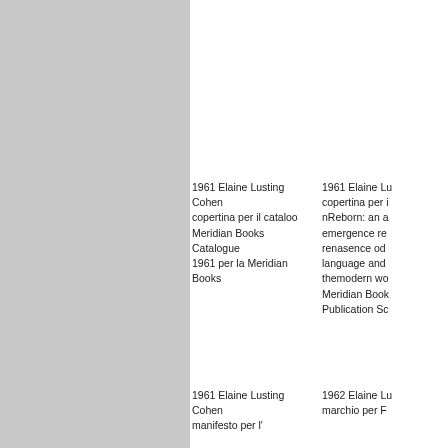[Figure (photo): Gray panel occupying the left portion of the page]
1961 Elaine Lusting Cohen copertina per il cataloo Meridian Books Catalogue 1961 per la Meridian Books
1961 Elaine Lu copertina per i nReborn: an a emergence re renasence od language and themodern wo Meridian Book Publication Sc
1961 Elaine Lusting Cohen manifesto per l'
1962 Elaine Lu marchio per F